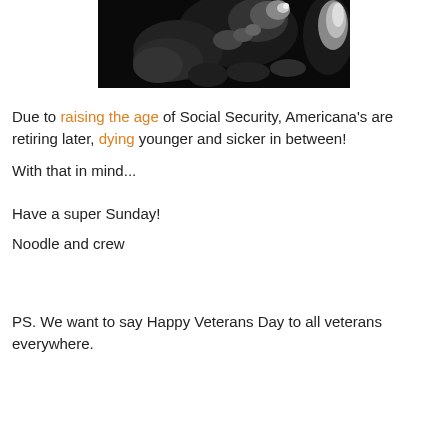[Figure (photo): Black and white photograph of what appears to be an animal (likely a dog or cat), partially cropped, dark background]
Due to raising the age of Social Security, Americana's are retiring later, dying younger and sicker in between!
With that in mind...
Have a super Sunday!
Noodle and crew
PS. We want to say Happy Veterans Day to all veterans everywhere.